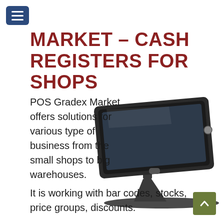[Figure (other): Navigation menu hamburger button — dark blue rounded rectangle with three white horizontal lines]
MARKET – CASH REGISTERS FOR SHOPS
[Figure (photo): A black POS terminal / cash register touchscreen on an angled stand with a wide base]
POS Gradex Market offers solutions for various type of business from the small shops to big warehouses.
It is working with bar codes, stocks, price groups, discounts.
[Figure (other): Scroll-to-top button — olive/army green rounded square with upward-pointing caret arrow]